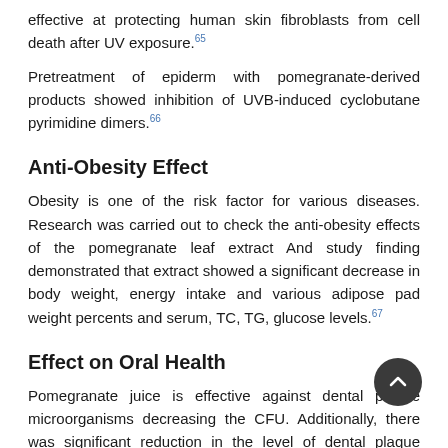effective at protecting human skin fibroblasts from cell death after UV exposure.65
Pretreatment of epiderm with pomegranate-derived products showed inhibition of UVB-induced cyclobutane pyrimidine dimers.66
Anti-Obesity Effect
Obesity is one of the risk factor for various diseases. Research was carried out to check the anti-obesity effects of the pomegranate leaf extract And study finding demonstrated that extract showed a significant decrease in body weight, energy intake and various adipose pad weight percents and serum, TC, TG, glucose levels.67
Effect on Oral Health
Pomegranate juice is effective against dental plaque microorganisms decreasing the CFU. Additionally, there was significant reduction in the level of dental plaque microorganisms after the rinsing with pomegranate juice.68